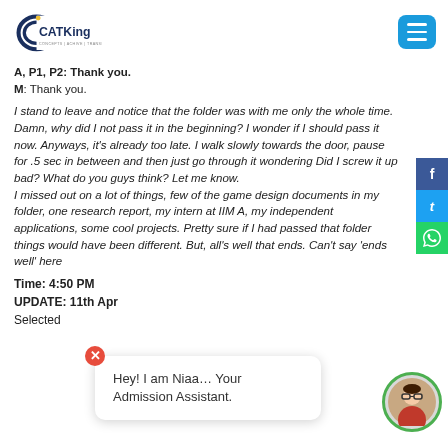CATKing
A, P1, P2: Thank you.
M: Thank you.
I stand to leave and notice that the folder was with me only the whole time. Damn, why did I not pass it in the beginning? I wonder if I should pass it now. Anyways, it's already too late. I walk slowly towards the door, pause for .5 sec in between and then just go through it wondering Did I screw it up bad? What do you guys think? Let me know.
I missed out on a lot of things, few of the game design documents in my folder, one research report, my intern at IIM A, my independent applications, some cool projects. Pretty sure if I had passed that folder things would have been different. But, all's well that ends. Can't say 'ends well' here
Time: 4:50 PM
UPDATE: 11th Apr
Selected